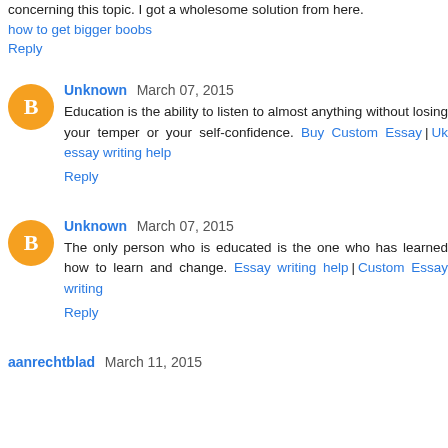concerning this topic. I got a wholesome solution from here.
how to get bigger boobs
Reply
Unknown March 07, 2015
Education is the ability to listen to almost anything without losing your temper or your self-confidence. Buy Custom Essay | Uk essay writing help
Reply
Unknown March 07, 2015
The only person who is educated is the one who has learned how to learn and change. Essay writing help | Custom Essay writing
Reply
aanrechtblad March 11, 2015